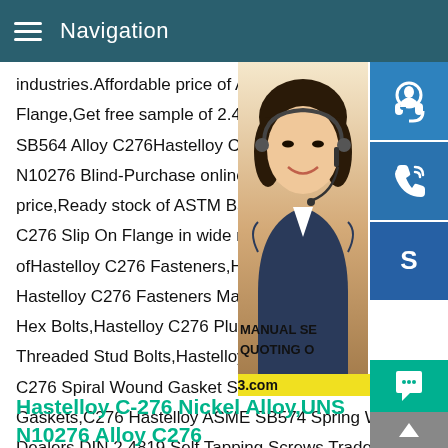Navigation
industries.Affordable price of ASTM B564 Flange,Get free sample of 2.4819 Slip on/ SB564 Alloy C276Hastelloy C276 Flanges N10276 Blind-Purchase online Hastelloy C price,Ready stock of ASTM B564 N10276 C276 Slip On Flange in wide range of size ofHastelloy C276 Fasteners,Hastelloy C27 Hastelloy C276 Fasteners Manufacturer,J Hex Bolts,Hastelloy C276 Plug Gasket,Nic Threaded Stud Bolts,Hastelloy C276 Fast C276 Spiral Wound Gasket Stockists,Hastelloy Alloy C276 Gaskets,C276 Hastelloy ASME SB574 Spring Washers Dealers,DIN 2.4819 Self Tapping Screws Traders,Hastelloy C276 Heavy Hex Nuts
[Figure (photo): Woman with headset, customer service representative, with blue icon buttons for headset, phone, and Skype overlaid on the right side. Text overlay reads MANUAL SE... QUOTING O... Email: bsteel1@163.com]
Hastelloy C-276 Nickel Alloy,UNS N10276 Alloy C276